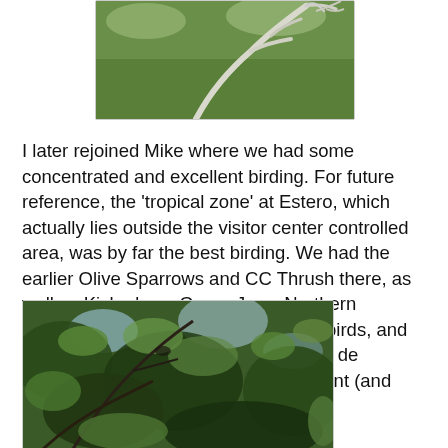[Figure (photo): Close-up photo of bare white/grey branches against a green foliage background]
I later rejoined Mike where we had some concentrated and excellent birding. For future reference, the 'tropical zone' at Estero, which actually lies outside the visitor center controlled area, was by far the best birding. We had the earlier Olive Sparrows and CC Thrush there, as well as Kiskadees, Green Jays, Northern Beardless Tyrannulets, Bronzed Cowbirds, and plenty of other goodies, with the pièce de résistance being a vocalizing but distant (and shaded) Tropical Parula.
[Figure (photo): Photo of dense green leafy tree canopy with branches visible, taken from below looking up, slightly dark/shaded]